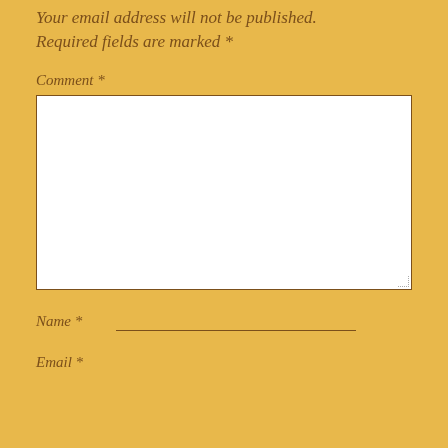Your email address will not be published. Required fields are marked *
Comment *
[Figure (other): Empty white comment textarea with border]
Name *
Email *